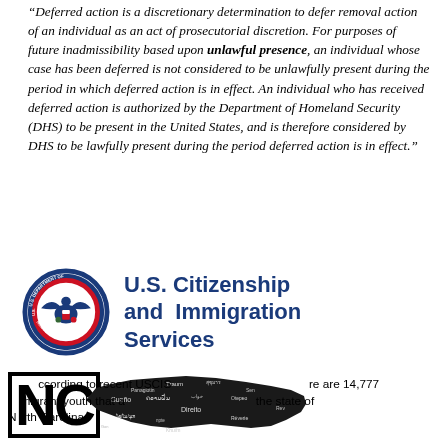“Deferred action is a discretionary determination to defer removal action of an individual as an act of prosecutorial discretion. For purposes of future inadmissibility based upon unlawful presence, an individual whose case has been deferred is not considered to be unlawfully present during the period in which deferred action is in effect. An individual who has received deferred action is authorized by the Department of Homeland Security (DHS) to be present in the United States, and is therefore considered by DHS to be lawfully present during the period deferred action is in effect.”
[Figure (logo): U.S. Department of Homeland Security seal alongside U.S. Citizenship and Immigration Services text logo]
According to recent USCIS data, there are 14,777 immigrant youth that are living in the state of North Carolina.